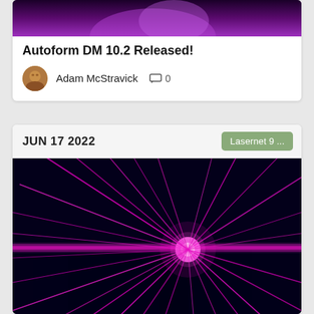[Figure (photo): Top portion of a photo with purple/violet gradient background - top card image]
Autoform DM 10.2 Released!
Adam McStravick   0
JUN 17 2022
Lasernet 9 ...
[Figure (photo): Laser light show image showing bright magenta/pink laser beams radiating from a central point against a dark blue/black background, with a horizontal band of laser light in the lower portion]